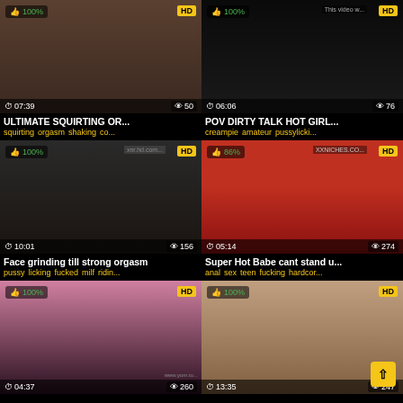[Figure (screenshot): Video thumbnail grid - adult video website with 6 video thumbnails in 2-column layout]
ULTIMATE SQUIRTING OR...
squirting orgasm shaking co...
POV DIRTY TALK HOT GIRL...
creampie amateur pussylicki...
Face grinding till strong orgasm
pussy licking fucked milf ridin...
Super Hot Babe cant stand u...
anal sex teen fucking hardcor...